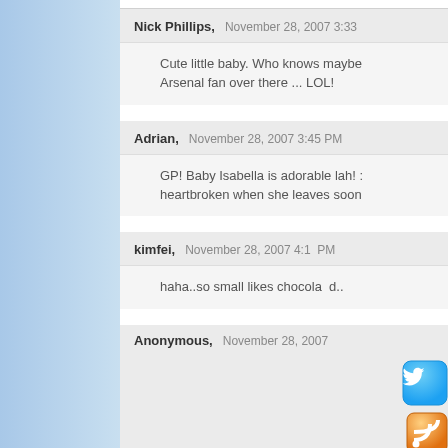Nick Phillips, November 28, 2007 3:33
Cute little baby. Who knows maybe Arsenal fan over there ... LOL!
Adrian, November 28, 2007 3:45 PM
GP! Baby Isabella is adorable lah! heartbroken when she leaves soon
kimfei, November 28, 2007 4:1_ PM
haha..so small likes chocola_d..
Anonymous, November 28, 2007